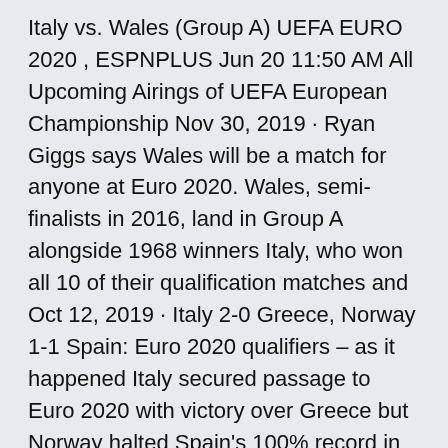Italy vs. Wales (Group A) UEFA EURO 2020 , ESPNPLUS Jun 20 11:50 AM All Upcoming Airings of UEFA European Championship Nov 30, 2019 · Ryan Giggs says Wales will be a match for anyone at Euro 2020. Wales, semi-finalists in 2016, land in Group A alongside 1968 winners Italy, who won all 10 of their qualification matches and Oct 12, 2019 · Italy 2-0 Greece, Norway 1-1 Spain: Euro 2020 qualifiers – as it happened Italy secured passage to Euro 2020 with victory over Greece but Norway halted Spain's 100% record in qualifying in · WALES VS SWITZERLAND. THE COUNTDOWN IS ON! TURKEY VS ITALY. Euro 2020 officially kicks off a year late as Turkey take on Italy at the Stadio Olimpico in Rome at 8pm on Friday. Jun 11, 2021 · EURO 2020 ROUND-UP. Wales are first off for Britain today in the Euros - after Italy launched the tournament with an impressive 3-0 tanking of Turkey